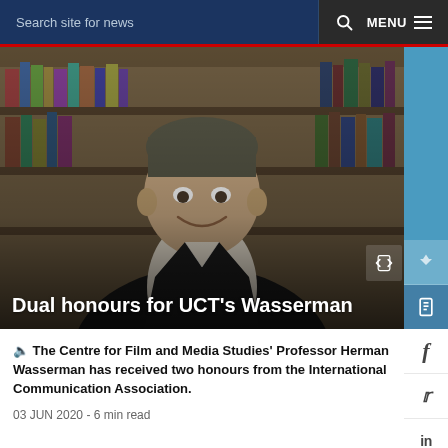Search site for news  🔍  MENU
[Figure (photo): A smiling middle-aged man in a dark blazer and white shirt seated in front of a bookcase filled with books.]
Dual honours for UCT's Wasserman
🔊 The Centre for Film and Media Studies' Professor Herman Wasserman has received two honours from the International Communication Association.
03 JUN 2020 - 6 min read
[Figure (photo): Partial view of a second news article card with a NEWS label badge visible.]